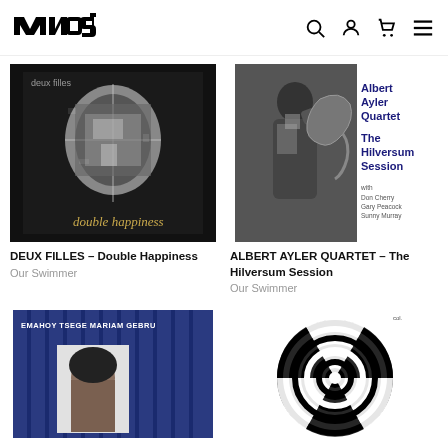MOST (logo) with search, account, cart, menu icons
[Figure (photo): Deux Filles - Double Happiness album cover, black and white collaged face]
DEUX FILLES – Double Happiness
Our Swimmer
[Figure (photo): Albert Ayler Quartet - The Hilversum Session album cover, black and white photo of saxophonist with text overlay]
ALBERT AYLER QUARTET – The Hilversum Session
Our Swimmer
[Figure (photo): Emahoy Tsege Mariam Gebru album cover, blue striped pattern with portrait]
[Figure (photo): Black and white spiral/pinwheel graphic album cover]